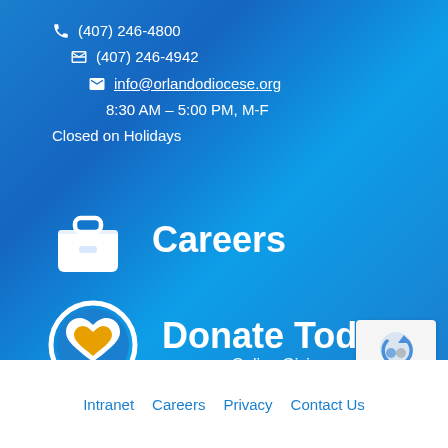(407) 246-4800
(407) 246-4942
info@orlandodiocese.org
8:30 AM – 5:00 PM, M-F
Closed on Holidays
[Figure (illustration): White briefcase icon representing Careers]
Careers
[Figure (illustration): White circle with blue heart and gold/yellow inner heart representing Donate Today]
Donate Today
Online Giving
Intranet  Careers  Privacy  Contact Us